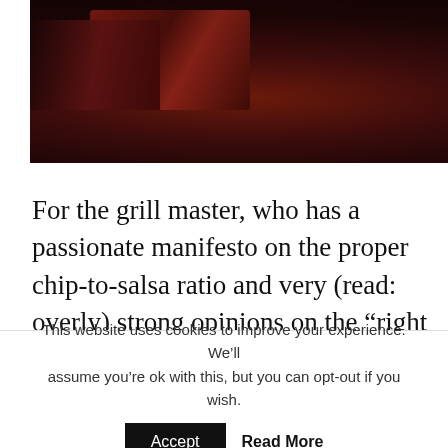[Figure (photo): Dark overhead photo of BBQ ribs with glossy sauce, with bottles/condiments visible in upper right corner]
For the grill master, who has a passionate manifesto on the proper chip-to-salsa ratio and very (read: overly) strong opinions on the “right way” to barbeque, get him one of the many Father’s Day essentials from the folks at Hickory Farms. They’ve got everything from picnic baskets to pork ribs to seasoning kits, so you can give your dad the
This website uses cookies to improve your experience. We’ll assume you’re ok with this, but you can opt-out if you wish.
Accept    Read More